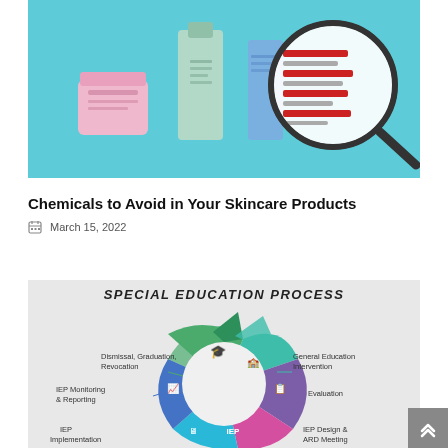[Figure (illustration): Skincare product illustration showing a cream jar, lotion bottle, and a magnifying glass highlighting red and grey text/ingredient lines on a teal/blue background.]
Chemicals to Avoid in Your Skincare Products
March 15, 2022
[Figure (infographic): Special Education Process circular infographic on grey background. Shows a cyclical process with segments: General Education Intervention (teal), Evaluation (purple), IEP Design & ARD Meeting (pink/magenta), IEP Implementation (cyan), IEP Monitoring & Reporting (blue), and Dismissal, Graduation, Revocation (green). Each segment has an icon and label. Center is a light grey circle.]